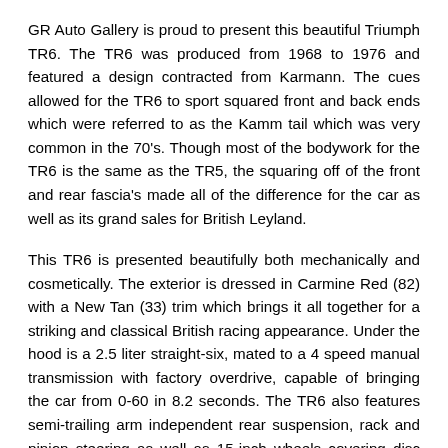GR Auto Gallery is proud to present this beautiful Triumph TR6. The TR6 was produced from 1968 to 1976 and featured a design contracted from Karmann. The cues allowed for the TR6 to sport squared front and back ends which were referred to as the Kamm tail which was very common in the 70's. Though most of the bodywork for the TR6 is the same as the TR5, the squaring off of the front and rear fascia's made all of the difference for the car as well as its grand sales for British Leyland.
This TR6 is presented beautifully both mechanically and cosmetically. The exterior is dressed in Carmine Red (82) with a New Tan (33) trim which brings it all together for a striking and classical British racing appearance. Under the hood is a 2.5 liter straight-six, mated to a 4 speed manual transmission with factory overdrive, capable of bringing the car from 0-60 in 8.2 seconds. The TR6 also features semi-trailing arm independent rear suspension, rack and pinion steering as well as 15-inch wheels covering disc brakes on the front and drums at the back. TR6's also came well-trimmed with pile